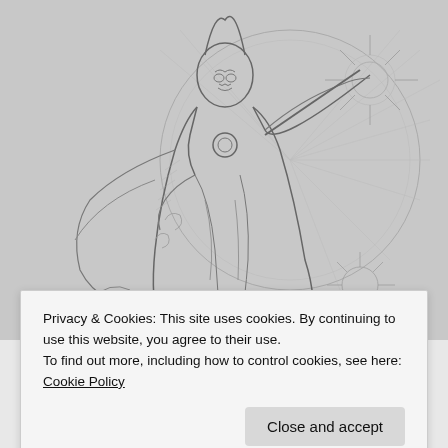[Figure (illustration): Pencil sketch illustration of a comic book superhero (resembling Doctor Strange) in dynamic pose, casting magical energy with swirling cape and mystical effects radiating around him. Black and white pencil artwork.]
Privacy & Cookies: This site uses cookies. By continuing to use this website, you agree to their use.
To find out more, including how to control cookies, see here: Cookie Policy
Close and accept